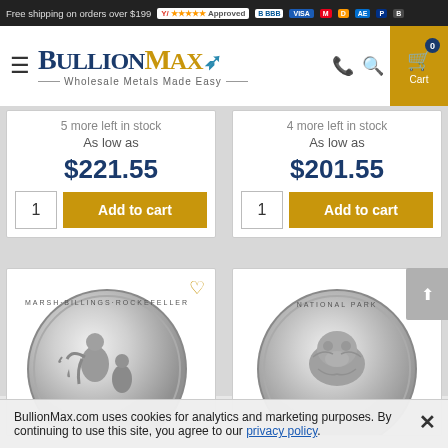Free shipping on orders over $199  [YotPo Approved] [BBB Accredited Business] [Visa] [Mastercard] [Discover] [Amex] [PayPal] [BitPay]
[Figure (logo): BullionMax logo with text 'Wholesale Metals Made Easy', hamburger menu, phone icon, search icon, and cart button with 0 items]
5 more left in stock
As low as
$221.55
4 more left in stock
As low as
$201.55
[Figure (photo): Silver coin showing Marsh-Billings-Rockefeller National Historical Park design with child figure]
[Figure (photo): Silver coin showing National Park design with animal (wolf or similar)]
BullionMax.com uses cookies for analytics and marketing purposes. By continuing to use this site, you agree to our privacy policy.